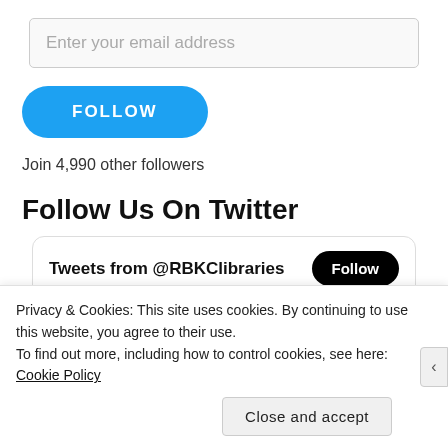Enter your email address
[Figure (screenshot): Blue FOLLOW button with rounded corners]
Join 4,990 other followers
Follow Us On Twitter
[Figure (screenshot): Twitter widget showing Tweets from @RBKClibraries with Follow button and RBKC Libraries tweet row]
Privacy & Cookies: This site uses cookies. By continuing to use this website, you agree to their use. To find out more, including how to control cookies, see here: Cookie Policy
Close and accept